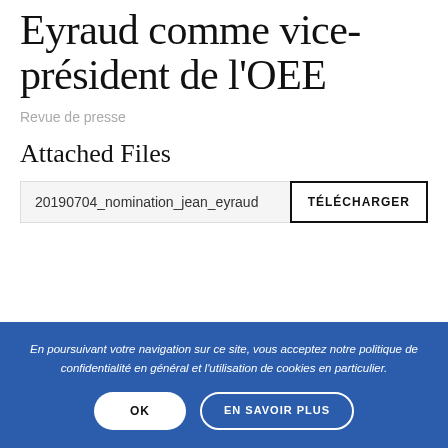Eyraud comme vice-président de l'OEE
Revue de presse
Attached Files
20190704_nomination_jean_eyraud   TÉLÉCHARGER
En poursuivant votre navigation sur ce site, vous acceptez notre politique de confidentialité en général et l'utilisation de cookies en particulier.
OK   EN SAVOIR PLUS